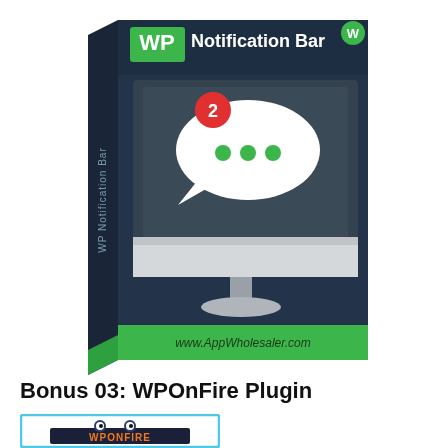[Figure (illustration): WP Notification Bar plugin product box. Dark navy blue box with green stripe at bottom. Front face shows 'WP' in green box and 'Notification Bar' in white text at top, WordPress logo top right. Center shows a computer monitor on dark background with a speech bubble containing three green dots and a red notification badge with number 2. Bottom text reads www.AppWholesaler.com. Left spine shows 'WP Notification Bar' text rotated vertically.]
Bonus 03: WPOnFire Plugin
[Figure (illustration): WPOnFire plugin logo/box. Light blue border frame. Cartoon fuzzy monster character peeking over a dark navy rectangle. Orange text 'WPONFIRE' on the dark rectangle.]